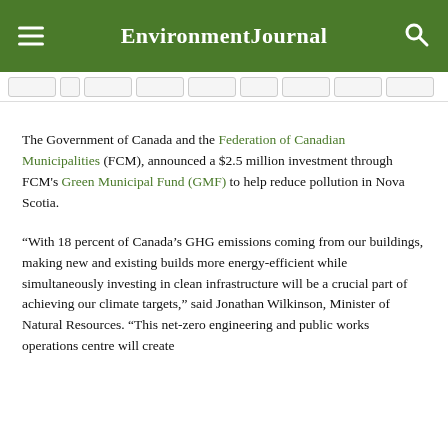Environment Journal
The Government of Canada and the Federation of Canadian Municipalities (FCM), announced a $2.5 million investment through FCM's Green Municipal Fund (GMF) to help reduce pollution in Nova Scotia.
“With 18 percent of Canada’s GHG emissions coming from our buildings, making new and existing builds more energy-efficient while simultaneously investing in clean infrastructure will be a crucial part of achieving our climate targets,” said Jonathan Wilkinson, Minister of Natural Resources. “This net-zero engineering and public works operations centre will create